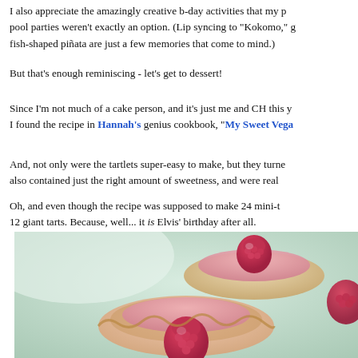I also appreciate the amazingly creative b-day activities that my p... pool parties weren't exactly an option. (Lip syncing to "Kokomo," g... fish-shaped piñata are just a few memories that come to mind.)
But that's enough reminiscing - let's get to dessert!
Since I'm not much of a cake person, and it's just me and CH this y... I found the recipe in Hannah's genius cookbook, "My Sweet Vega...
And, not only were the tartlets super-easy to make, but they turne... also contained just the right amount of sweetness, and were real...
Oh, and even though the recipe was supposed to make 24 mini-t... 12 giant tarts. Because, well... it is Elvis' birthday after all.
[Figure (photo): Close-up photo of mini tart shells filled with pink/raspberry cream and topped with fresh raspberries, on a light green/mint background.]